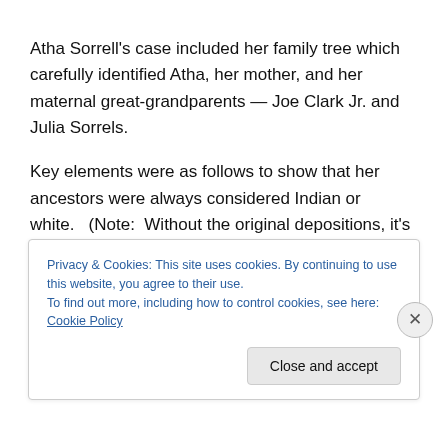Atha Sorrell's case included her family tree which carefully identified Atha, her mother, and her maternal great-grandparents — Joe Clark Jr. and Julia Sorrels.
Key elements were as follows to show that her ancestors were always considered Indian or white.  (Note:  Without the original depositions, it's impossible to determine the exact relations of the following people.  I suspect that Daniel Curry is not related, but either provided a
[cut off text continues below cookie banner]
Privacy & Cookies: This site uses cookies. By continuing to use this website, you agree to their use.
To find out more, including how to control cookies, see here: Cookie Policy
Close and accept